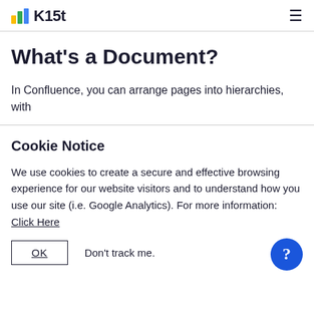K15t
What's a Document?
In Confluence, you can arrange pages into hierarchies, with
Cookie Notice
We use cookies to create a secure and effective browsing experience for our website visitors and to understand how you use our site (i.e. Google Analytics). For more information:
Click Here
OK   Don't track me.